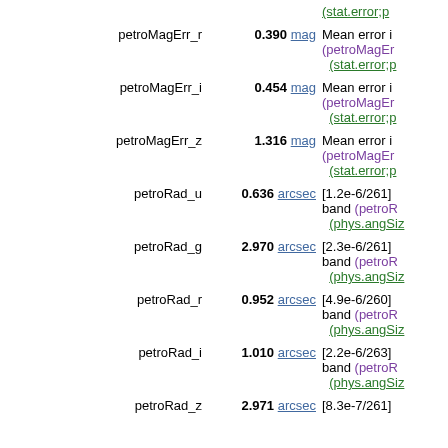| Name | Value | Description |
| --- | --- | --- |
|  |  | (stat.error;p |
| petroMagErr_r | 0.390 mag | Mean error i
(petroMagEr
(stat.error;p |
| petroMagErr_i | 0.454 mag | Mean error i
(petroMagEr
(stat.error;p |
| petroMagErr_z | 1.316 mag | Mean error i
(petroMagEr
(stat.error;p |
| petroRad_u | 0.636 arcsec | [1.2e-6/261] band (petroR
(phys.angSiz |
| petroRad_g | 2.970 arcsec | [2.3e-6/261] band (petroR
(phys.angSiz |
| petroRad_r | 0.952 arcsec | [4.9e-6/260] band (petroR
(phys.angSiz |
| petroRad_i | 1.010 arcsec | [2.2e-6/263] band (petroR
(phys.angSiz |
| petroRad_z | 2.971 arcsec | [8.3e-7/261] |